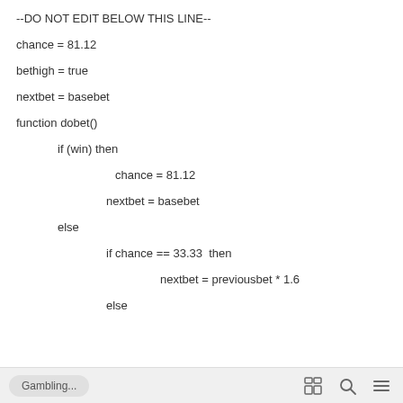--DO NOT EDIT BELOW THIS LINE--
chance = 81.12
bethigh = true
nextbet = basebet
function dobet()
if (win) then
chance = 81.12
nextbet = basebet
else
if chance == 33.33  then
nextbet = previousbet * 1.6
else
Gambling...